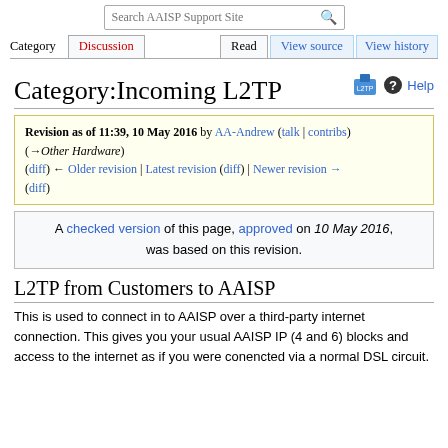Search AAISP Support Site
Category | Discussion | Read | View source | View history
Category:Incoming L2TP
Revision as of 11:39, 10 May 2016 by AA-Andrew (talk | contribs) (→Other Hardware) (diff) ← Older revision | Latest revision (diff) | Newer revision → (diff)
A checked version of this page, approved on 10 May 2016, was based on this revision.
L2TP from Customers to AAISP
This is used to connect in to AAISP over a third-party internet connection. This gives you your usual AAISP IP (4 and 6) blocks and access to the internet as if you were conencted via a normal DSL circuit.